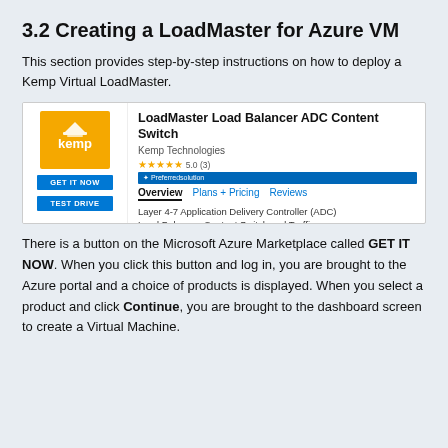3.2 Creating a LoadMaster for Azure VM
This section provides step-by-step instructions on how to deploy a Kemp Virtual LoadMaster.
[Figure (screenshot): Microsoft Azure Marketplace listing for LoadMaster Load Balancer ADC Content Switch by Kemp Technologies, showing 5-star rating, Preferred Solution badge, Overview/Plans+Pricing/Reviews tabs, GET IT NOW and TEST DRIVE buttons, and description: Layer 4-7 Application Delivery Controller (ADC) Load Balancer, Content Switch and Traffic Manager]
There is a button on the Microsoft Azure Marketplace called GET IT NOW. When you click this button and log in, you are brought to the Azure portal and a choice of products is displayed. When you select a product and click Continue, you are brought to the dashboard screen to create a Virtual Machine.